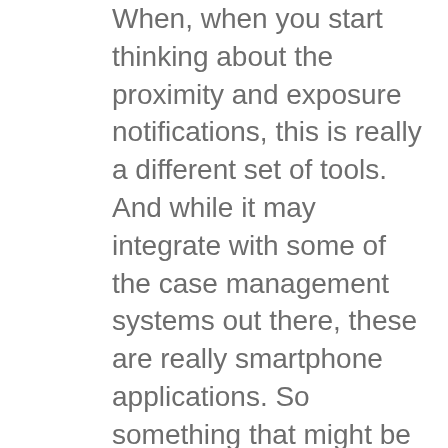When, when you start thinking about the proximity and exposure notifications, this is really a different set of tools. And while it may integrate with some of the case management systems out there, these are really smartphone applications. So something that might be on your iPhone or your Android phone, it's a Bluetooth or GPS technology. Its voluntary users like you and me have to opt in, in order to use them. And it's really used to try to identify the proximity and duration of